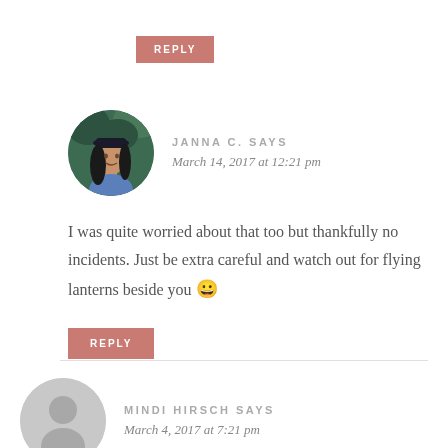REPLY
[Figure (photo): Circular avatar photo of Janna C., a woman with dark hair wearing a blue top and dark hat, with greenery background]
JANNA C. SAYS
March 14, 2017 at 12:21 pm
I was quite worried about that too but thankfully no incidents. Just be extra careful and watch out for flying lanterns beside you 😀
REPLY
[Figure (illustration): Generic circular avatar placeholder icon with silhouette of a person, gray color]
MINDI HIRSCH SAYS
March 4, 2017 at 7:21 pm